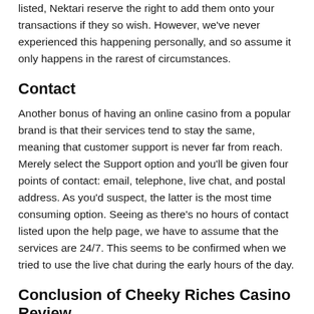listed, Nektari reserve the right to add them onto your transactions if they so wish. However, we've never experienced this happening personally, and so assume it only happens in the rarest of circumstances.
Contact
Another bonus of having an online casino from a popular brand is that their services tend to stay the same, meaning that customer support is never far from reach. Merely select the Support option and you'll be given four points of contact: email, telephone, live chat, and postal address. As you'd suspect, the latter is the most time consuming option. Seeing as there's no hours of contact listed upon the help page, we have to assume that the services are 24/7. This seems to be confirmed when we tried to use the live chat during the early hours of the day.
Conclusion of Cheeky Riches Casino Review